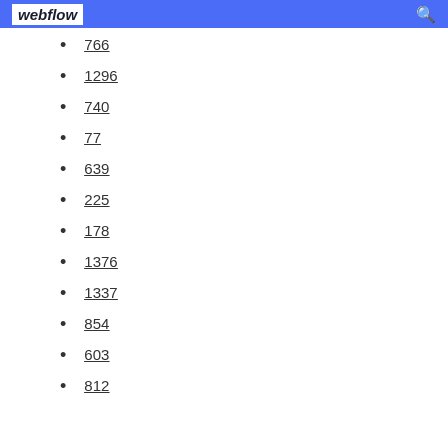webflow
766
1296
740
77
639
225
178
1376
1337
854
603
812